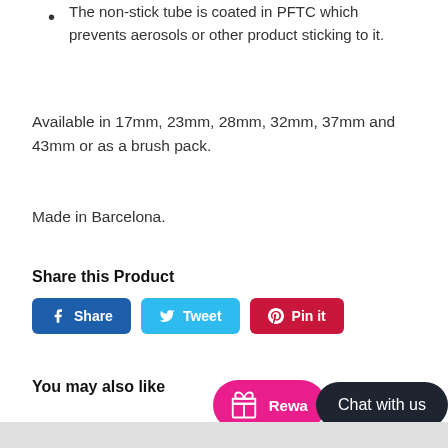The non-stick tube is coated in PFTC which prevents aerosols or other product sticking to it.
Available in 17mm, 23mm, 28mm, 32mm, 37mm and 43mm or as a brush pack.
Made in Barcelona.
Share this Product
[Figure (other): Social share buttons: Facebook Share, Twitter Tweet, Pinterest Pin it]
You may also like
[Figure (other): Rewards and Chat with us overlay buttons at the bottom right]